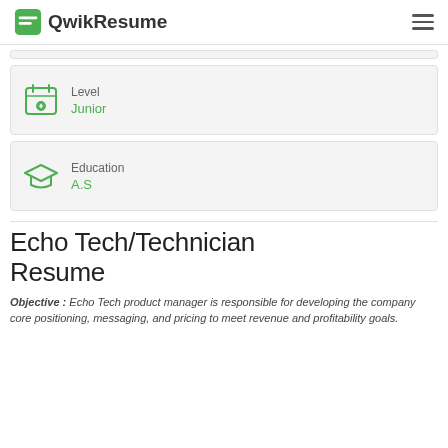QwikResume
Level
Junior
Education
A.S
Echo Tech/Technician Resume
Objective : Echo Tech product manager is responsible for developing the company core positioning, messaging, and pricing to meet revenue and profitability goals.